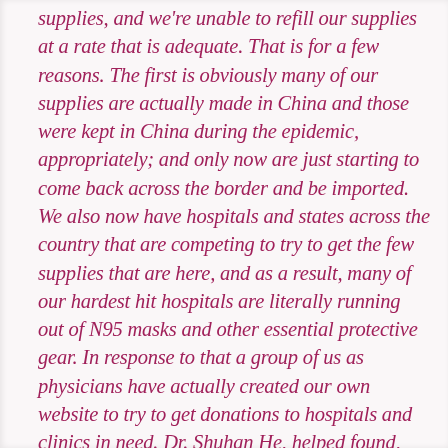supplies, and we're unable to refill our supplies at a rate that is adequate. That is for a few reasons. The first is obviously many of our supplies are actually made in China and those were kept in China during the epidemic, appropriately; and only now are just starting to come back across the border and be imported. We also now have hospitals and states across the country that are competing to try to get the few supplies that are here, and as a result, many of our hardest hit hospitals are literally running out of N95 masks and other essential protective gear. In response to that a group of us as physicians have actually created our own website to try to get donations to hospitals and clinics in need. Dr. Shuhan He, helped found, along with me and a group of other doctors,